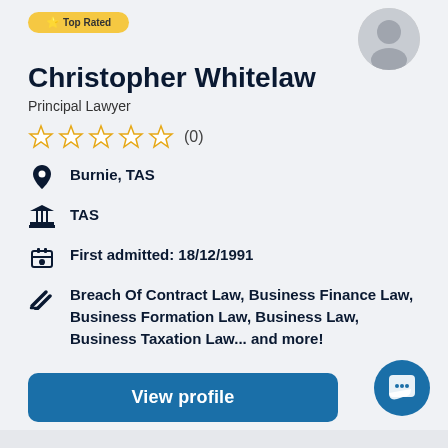Christopher Whitelaw
Principal Lawyer
(0)
Burnie, TAS
TAS
First admitted: 18/12/1991
Breach Of Contract Law, Business Finance Law, Business Formation Law, Business Law, Business Taxation Law... and more!
View profile